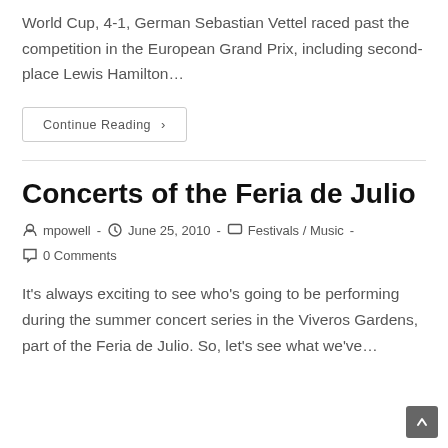World Cup, 4-1, German Sebastian Vettel raced past the competition in the European Grand Prix, including second-place Lewis Hamilton…
Continue Reading ›
Concerts of the Feria de Julio
mpowell - June 25, 2010 - Festivals / Music - 0 Comments
It's always exciting to see who's going to be performing during the summer concert series in the Viveros Gardens, part of the Feria de Julio. So, let's see what we've…